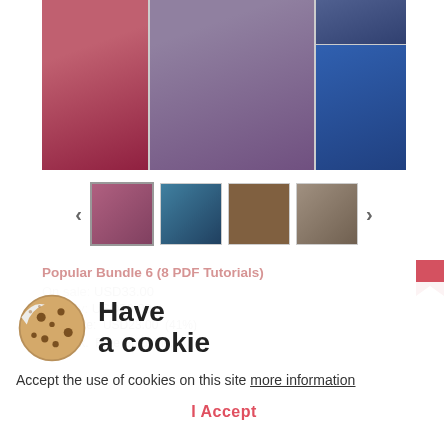[Figure (photo): Product image gallery showing beaded bracelets. Left: red and gold beaded bracelet with white pearl. Center: large purple crystal beaded bracelet with flower pattern. Top right: dark background partial view. Bottom right: blue and gold beaded bracelet.]
[Figure (photo): Thumbnail carousel with 4 thumbnails: collage of bracelet images, blue/teal bracelet, brown/dark bracelet closeup, beige/light bracelet. Navigation arrows on left and right.]
Popular Bundle 6 (8 PDF Tutorials)
On sale: USD33.00
Usually: USD56.00
You Save: USD23.00 (41%)
In Stock. Free Shipping.
Have a cookie
Accept the use of cookies on this site more information
I Accept